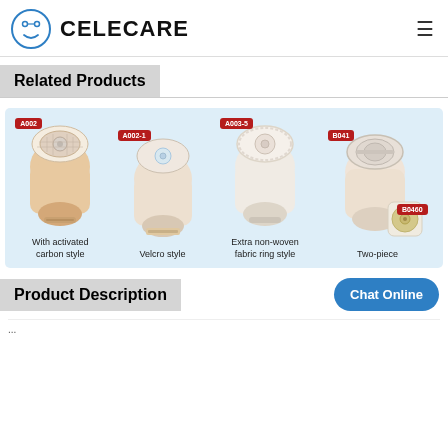CELECARE
Related Products
[Figure (photo): Four ostomy pouch products displayed side by side on a light blue background. Products labeled A002 (With activated carbon style), A002-1 (Velcro style), A003-5 (Extra non-woven fabric ring style), B041 and B0460 (Two-piece).]
Product Description
Chat Online
...